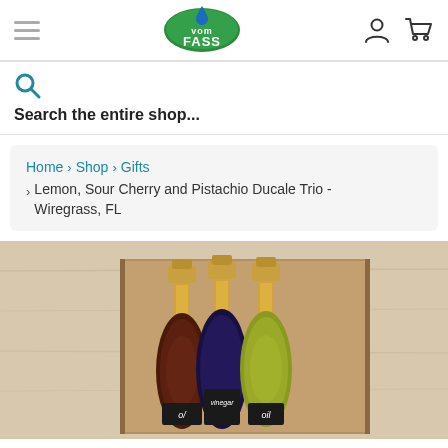[Figure (logo): vom FASS logo - oval green shape with blue water drop, text 'vom FASS']
Search the entire shop...
Home > Shop > Gifts > Lemon, Sour Cherry and Pistachio Ducale Trio - Wiregrass, FL
[Figure (photo): Three decorative bottles in a wooden gift box on a light wood surface. The bottles contain dark red/brown oil, dark purple vinegar, and yellow-green oil, each with gold caps and handwritten labels.]